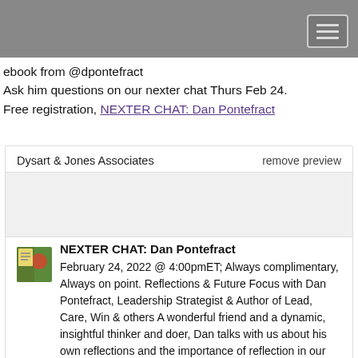ebook from @dpontefract
Ask him questions on our nexter chat Thurs Feb 24.
Free registration, NEXTER CHAT: Dan Pontefract
Dysart & Jones Associates    remove preview
NEXTER CHAT: Dan Pontefract
February 24, 2022 @ 4:00pmET; Always complimentary, Always on point. Reflections & Future Focus with Dan Pontefract, Leadership Strategist & Author of Lead, Care, Win & others A wonderful friend and a dynamic, insightful thinker and doer, Dan talks with us about his own reflections and the importance of reflection in our lives and work.
View this on Dysart & Jones Associates >